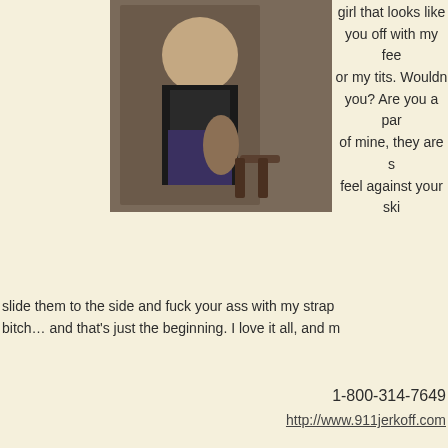[Figure (photo): Photo of a woman in black top pulling down jeans, standing near a bar stool]
girl that looks like you off with my fee or my tits. Wouldn you? Are you a par of mine, they are s feel against your ski
slide them to the side and fuck your ass with my strap bitch… and that's just the beginning. I love it all, and m
1-800-314-7649
http://www.911jerkoff.com
Phone Sex, Phone Sex Blog phone sex blog